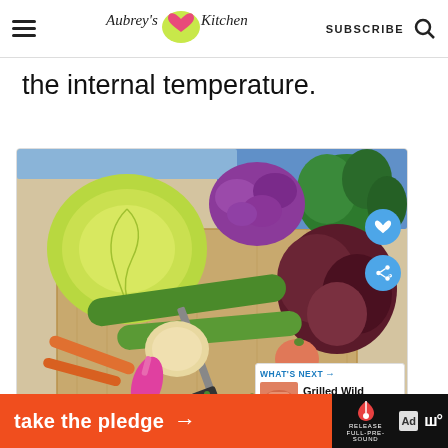Aubrey's Kitchen — SUBSCRIBE
the internal temperature.
[Figure (photo): Assorted colorful vegetables including cabbage, purple cauliflower, cucumber, onion, radishes, carrots, and leafy greens arranged on a wooden cutting board with a large knife]
WHAT'S NEXT → Grilled Wild Caught...
take the pledge →